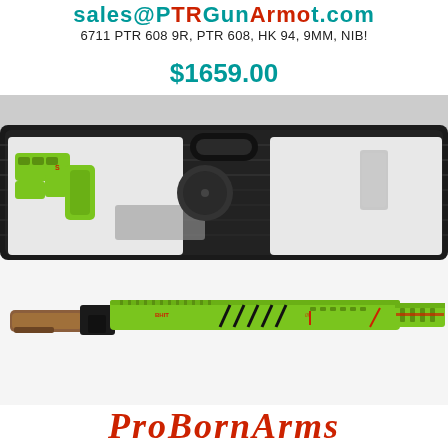sales@PTRGunArmot.com
6711 PTR 608 9R, PTR 608, HK 94, 9MM, NIB!
$1659.00
[Figure (photo): Photo of a PTR 608 9MM rifle with zombie green finish, shown in a black hard case (top) and assembled below the case, with brown wood stock and lime green tactical body with black markings.]
ProBornArms